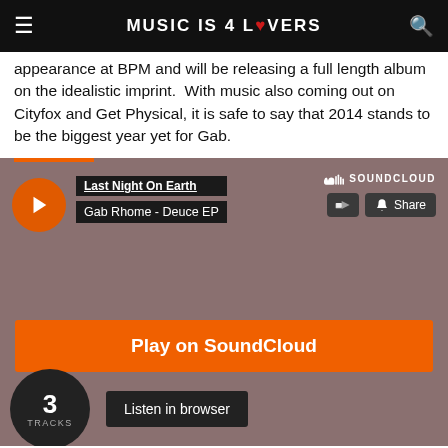MUSIC IS 4 LOVERS
appearance at BPM and will be releasing a full length album on the idealistic imprint.  With music also coming out on Cityfox and Get Physical, it is safe to say that 2014 stands to be the biggest year yet for Gab.
[Figure (screenshot): SoundCloud embedded music player showing 'Last Night On Earth' playlist by Gab Rhome - Deuce EP, with play button, share button, orange Play on SoundCloud bar, 3 Tracks circle badge, and Listen in browser button]